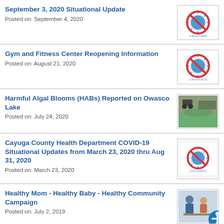September 3, 2020 Situational Update
Posted on: September 4, 2020
Gym and Fitness Center Reopening Information
Posted on: August 21, 2020
Harmful Algal Blooms (HABs) Reported on Owasco Lake
Posted on: July 24, 2020
Cayuga County Health Department COVID-19 Situational Updates from March 23, 2020 thru Aug 31, 2020
Posted on: March 23, 2020
Healthy Mom - Healthy Baby - Healthy Community Campaign
Posted on: July 2, 2019